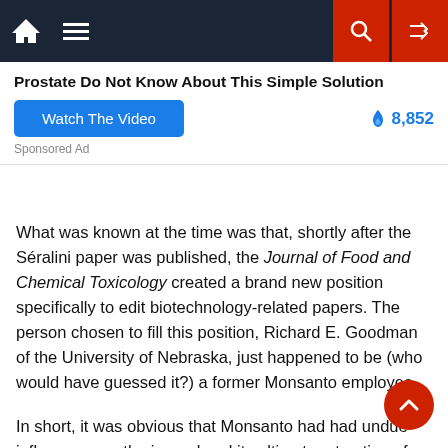[Figure (screenshot): Navigation bar with home icon, menu icon, search button (red), and shuffle button (red) on dark background]
[Figure (screenshot): Sponsored advertisement box with bold title 'Prostate Do Not Know About This Simple Solution', a blue 'Watch The Video' button, and a fire icon with '8,852' engagement count, labeled 'Sponsored Ad']
What was known at the time was that, shortly after the Séralini paper was published, the Journal of Food and Chemical Toxicology created a brand new position specifically to edit biotechnology-related papers. The person chosen to fill this position, Richard E. Goodman of the University of Nebraska, just happened to be (who would have guessed it?) a former Monsanto employee.
In short, it was obvious that Monsanto had had undue influence over the journal and its ultimate retraction of the paper. Then along came another document leak, which served to show just how much influence it had.